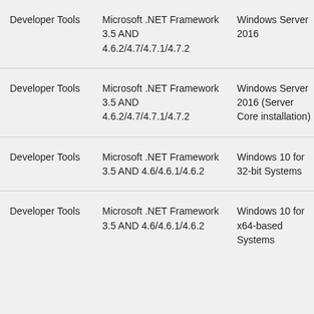| Developer Tools | Microsoft .NET Framework 3.5 AND 4.6.2/4.7/4.7.1/4.7.2 | Windows Server 2016 | 45803 |
| Developer Tools | Microsoft .NET Framework 3.5 AND 4.6.2/4.7/4.7.1/4.7.2 | Windows Server 2016 (Server Core installation) | 45803 |
| Developer Tools | Microsoft .NET Framework 3.5 AND 4.6/4.6.1/4.6.2 | Windows 10 for 32-bit Systems | 45803 |
| Developer Tools | Microsoft .NET Framework 3.5 AND 4.6/4.6.1/4.6.2 | Windows 10 for x64-based Systems | 45803 |